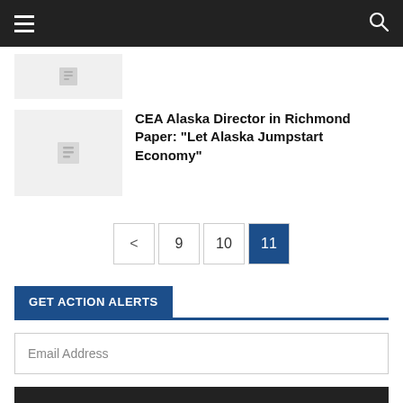Navigation bar with menu and search icons
[Figure (other): Partial article thumbnail placeholder (top, cropped)]
CEA Alaska Director in Richmond Paper: “Let Alaska Jumpstart Economy”
Pagination: < 9 10 11 (current)
GET ACTION ALERTS
Email Address
SIGN UP